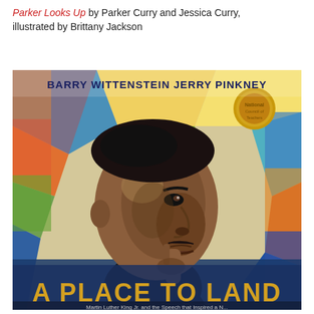Parker Looks Up by Parker Curry and Jessica Curry, illustrated by Brittany Jackson
[Figure (illustration): Book cover of 'A Place to Land' by Barry Wittenstein and Jerry Pinkney. Shows a painted illustration of Martin Luther King Jr. in profile, looking upward thoughtfully with his hand raised to his chin. Background is a colorful stained-glass style pattern. Title 'A PLACE TO LAND' appears at the bottom in large gold letters. Authors' names 'BARRY WITTENSTEIN JERRY PINKNEY' appear at the top in dark blue. A gold award medal is visible in the top right corner.]